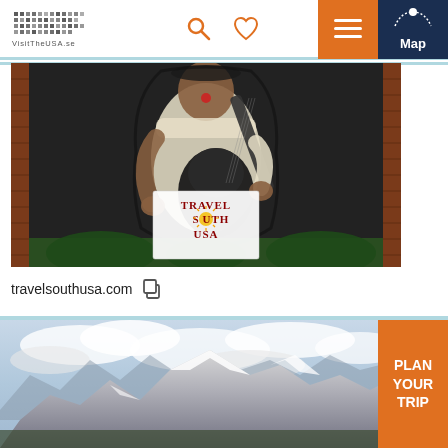VisitTheUSA.se — navigation header with logo, search, heart, hamburger menu, and Map button
[Figure (photo): Mural of a blues guitarist (BB King style) painted on a brick wall, with Travel South USA logo overlay in the lower center of the image]
travelsouthusa.com
[Figure (photo): Scenic mountain landscape with snow-capped peaks (resembling Grand Teton) under a partly cloudy sky, with orange 'PLAN YOUR TRIP' button overlay on the right]